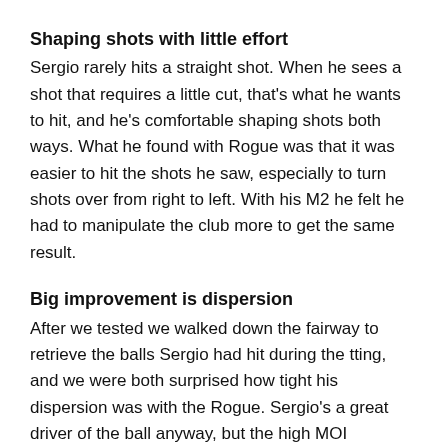Shaping shots with little effort
Sergio rarely hits a straight shot. When he sees a shot that requires a little cut, that's what he wants to hit, and he's comfortable shaping shots both ways. What he found with Rogue was that it was easier to hit the shots he saw, especially to turn shots over from right to left. With his M2 he felt he had to manipulate the club more to get the same result.
Big improvement is dispersion
After we tested we walked down the fairway to retrieve the balls Sergio had hit during the tting, and we were both surprised how tight his dispersion was with the Rogue. Sergio's a great driver of the ball anyway, but the high MOI